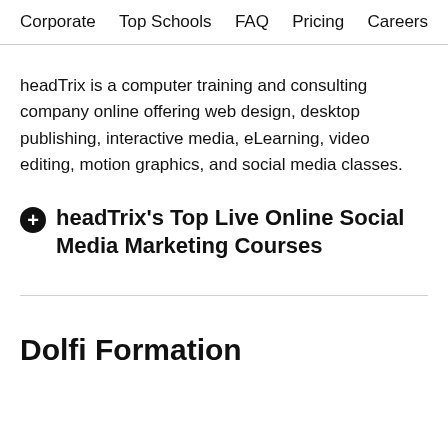Corporate   Top Schools   FAQ   Pricing   Careers
headTrix is a computer training and consulting company online offering web design, desktop publishing, interactive media, eLearning, video editing, motion graphics, and social media classes.
headTrix's Top Live Online Social Media Marketing Courses
Dolfi Formation